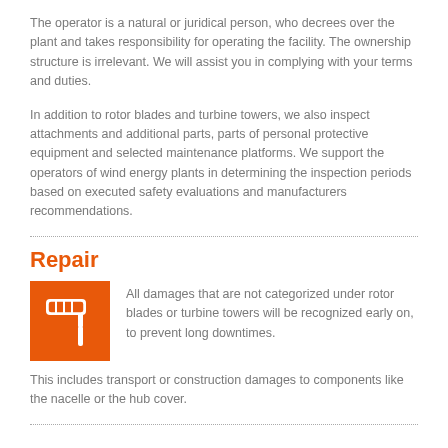The operator is a natural or juridical person, who decrees over the plant and takes responsibility for operating the facility. The ownership structure is irrelevant. We will assist you in complying with your terms and duties.
In addition to rotor blades and turbine towers, we also inspect attachments and additional parts, parts of personal protective equipment and selected maintenance platforms. We support the operators of wind energy plants in determining the inspection periods based on executed safety evaluations and manufacturers recommendations.
Repair
[Figure (illustration): Orange square icon with a paint roller / repair tool symbol in white]
All damages that are not categorized under rotor blades or turbine towers will be recognized early on, to prevent long downtimes.
This includes transport or construction damages to components like the nacelle or the hub cover.